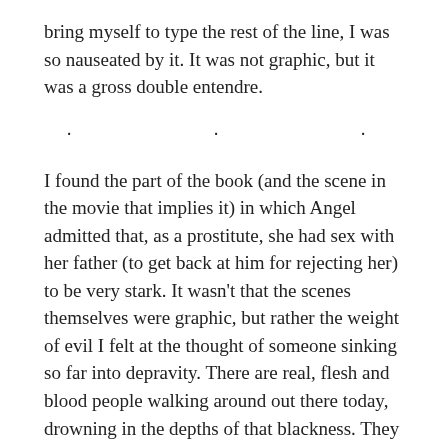bring myself to type the rest of the line, I was so nauseated by it. It was not graphic, but it was a gross double entendre.
· · ·
I found the part of the book (and the scene in the movie that implies it) in which Angel admitted that, as a prostitute, she had sex with her father (to get back at him for rejecting her) to be very stark. It wasn't that the scenes themselves were graphic, but rather the weight of evil I felt at the thought of someone sinking so far into depravity. There are real, flesh and blood people walking around out there today, drowning in the depths of that blackness. They desperately need Jesus. We must share the biblical gospel with them that Redeeming